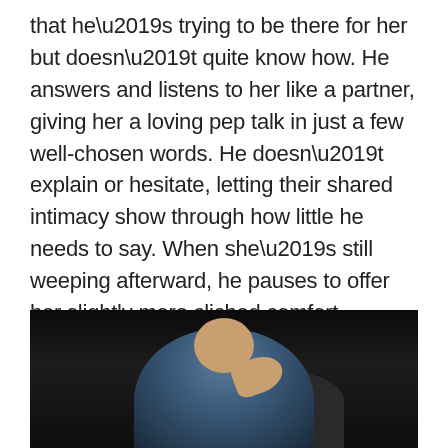that he’s trying to be there for her but doesn’t quite know how. He answers and listens to her like a partner, giving her a loving pep talk in just a few well-chosen words. He doesn’t explain or hesitate, letting their shared intimacy show through how little he needs to say. When she’s still weeping afterward, he pauses to offer her slightly more cliched comfort, sensing it’s what she needs. We also see him with their daughter, often half-distracted, but just like he did with Sarah on the phone, seriously listening to her, answering her questions, providing her comfort.
[Figure (photo): Dark photograph showing two people, one wearing a blue top with a hand resting on what appears to be another person's head or shoulder, against a very dark background.]